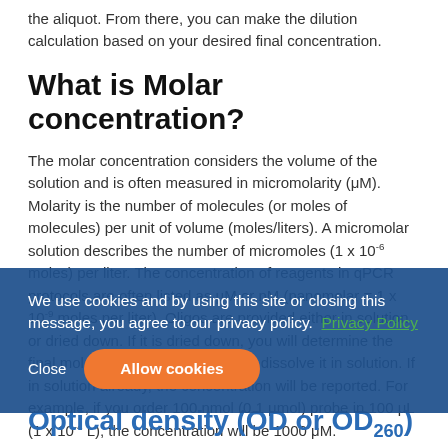the aliquot. From there, you can make the dilution calculation based on your desired final concentration.
What is Molar concentration?
The molar concentration considers the volume of the solution and is often measured in micromolarity (μM). Molarity is the number of molecules (or moles of molecules) per unit of volume (moles/liters). A micromolar solution describes the number of micromoles (1 x 10⁻⁶ moles) per liter. The concentration of reagents in qPCR protocols are often listed as μM or nM (nanomolar = 1 x 10⁻⁹ moles per liter). Oligos are provided either in solution or dried down. If it is dried down, you will determine the final molar concentration once you dissolve it in solution. If in solution already, the concentration will be reported. For example, if you order 100 nmol (0.1 μmol) probe in 100 μL (1 x 10⁻⁴ L), the concentration will be 1000 μM.
We use cookies and by using this site or closing this message, you agree to our privacy policy. Privacy Policy
Optical density (OD or OD₂₆₀)